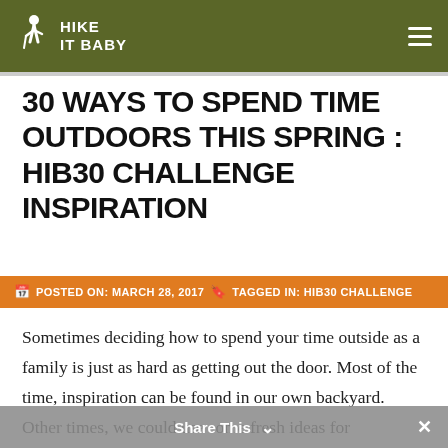HIKE IT BABY
30 WAYS TO SPEND TIME OUTDOORS THIS SPRING : HIB30 CHALLENGE INSPIRATION
POSTED ON: MARCH 28, 2017   TAGGED IN: HIB30 CHALLENGE
Sometimes deciding how to spend your time outside as a family is just as hard as getting out the door. Most of the time, inspiration can be found in our own backyard. Other times, we could use some fresh ideas for motivating our outdoor adventures. We are quickly approaching the start of the April